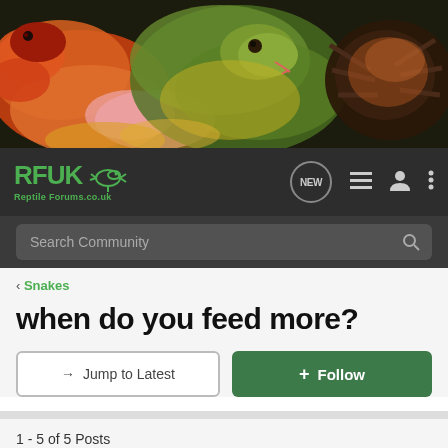[Figure (photo): Banner image showing reptiles: a colorful snake (red/orange/yellow), a gecko, and a tarantula on dark background]
RFUK Reptile Forums.co.uk — navigation bar with NEW bubble, list icon, profile icon, menu icon
Search Community
< Snakes
when do you feed more?
→ Jump to Latest
+ Follow
1 - 5 of 5 Posts
Slapshot · Registered
Joined Oct 4, 2006 · 173 Posts